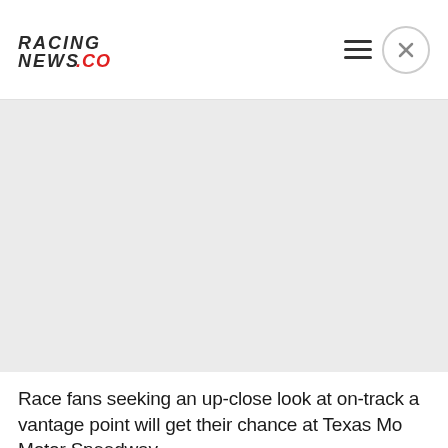RACING NEWS.CO
[Figure (photo): Large image placeholder area with light gray background, no visible content — likely an article hero image]
Race fans seeking an up-close look at on-track c vantage point will get their chance at Texas Mo Motor Speedway.